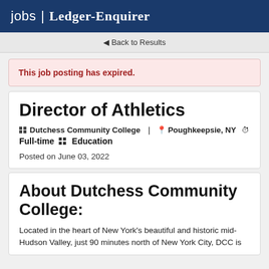jobs | Ledger-Enquirer
◄ Back to Results
This job posting has expired.
Director of Athletics
Dutchess Community College  Poughkeepsie, NY  Full-time  Education
Posted on June 03, 2022
About Dutchess Community College:
Located in the heart of New York's beautiful and historic mid-Hudson Valley, just 90 minutes north of New York City, DCC is